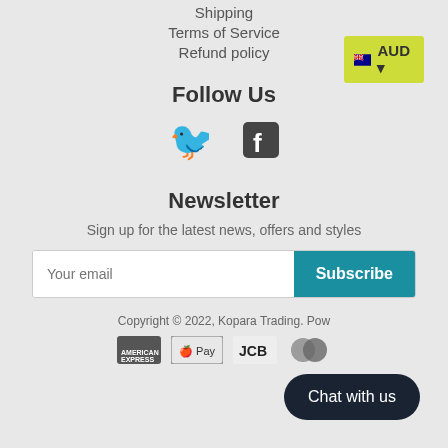Shipping
Terms of Service
Refund policy
[Figure (other): AUD currency selector button with Australian flag]
Follow Us
[Figure (other): Twitter and Facebook social media icons]
Newsletter
Sign up for the latest news, offers and styles
[Figure (other): Email input field with Subscribe button]
Copyright © 2022, Kopara Trading. Pow
[Figure (other): Payment icons: American Express, Apple Pay, JCB, Mastercard]
[Figure (other): Chat with us button]